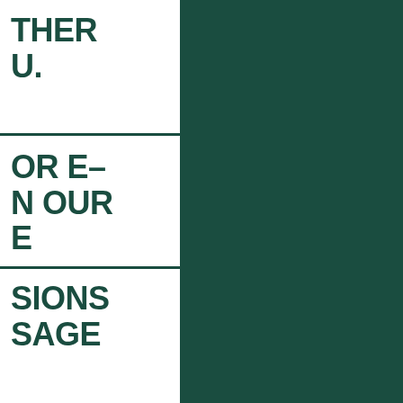THER U.
OR E– N OUR E
SIONS SAGE